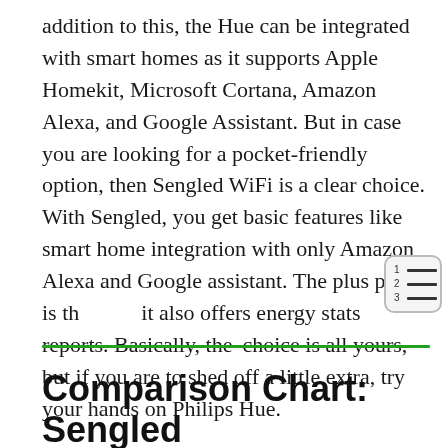addition to this, the Hue can be integrated with smart homes as it supports Apple Homekit, Microsoft Cortana, Amazon Alexa, and Google Assistant. But in case you are looking for a pocket-friendly option, then Sengled WiFi is a clear choice. With Sengled, you get basic features like smart home integration with only Amazon Alexa and Google assistant. The plus point is that it also offers energy stats reports. Basically, the choice is all yours, but if you are to shed off a little extra, try your hands on Philips Hue.
Comparison Chart: Sengled Vs Philips Hue